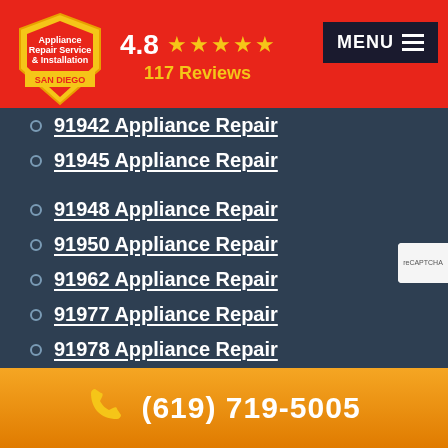[Figure (logo): Appliance Repair Service & Installation San Diego shield logo in yellow and red]
4.8 ★★★★★ 117 Reviews
MENU
91942 Appliance Repair
91945 Appliance Repair
91948 Appliance Repair
91950 Appliance Repair
91962 Appliance Repair
91977 Appliance Repair
91978 Appliance Repair
92007 Appliance Repair
92008 Appliance Repair
92009 Appliance Repair
(619) 719-5005